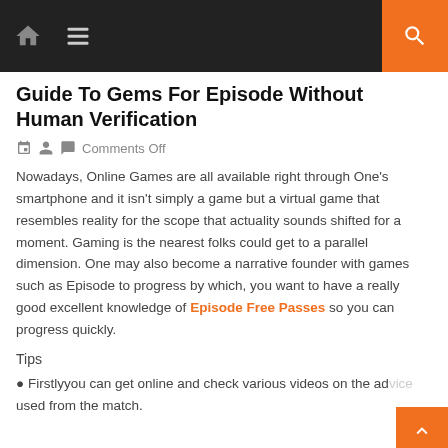Navigation bar with home icon, menu icon, and search icon
Guide To Gems For Episode Without Human Verification
Comments Off
Nowadays, Online Games are all available right through One's smartphone and it isn't simply a game but a virtual game that resembles reality for the scope that actuality sounds shifted for a moment. Gaming is the nearest folks could get to a parallel dimension. One may also become a narrative founder with games such as Episode to progress by which, you want to have a really good excellent knowledge of Episode Free Passes so you can progress quickly.
Tips
Firstlyyou can get online and check various videos on the advice used from the match.